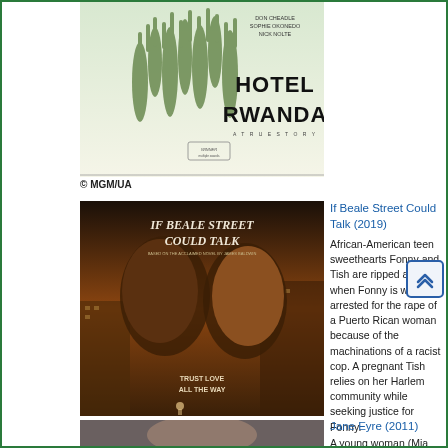[Figure (photo): Hotel Rwanda movie poster showing hands reaching up with the movie title text]
© MGM/UA
[Figure (photo): Movie poster for If Beale Street Could Talk showing two people facing each other about to kiss, with city street backdrop. Text reads TRUST LOVE ALL THE WAY]
If Beale Street Could Talk (2019)
African-American teen sweethearts Fonny and Tish are ripped apart when Fonny is wrongly arrested for the rape of a Puerto Rican woman because of the machinations of a racist cop. A pregnant Tish relies on her Harlem community while seeking justice for Fonny.
[Figure (photo): Jane Eyre movie still showing a woman's portrait]
Jane Eyre (2011)
A young woman (Mia